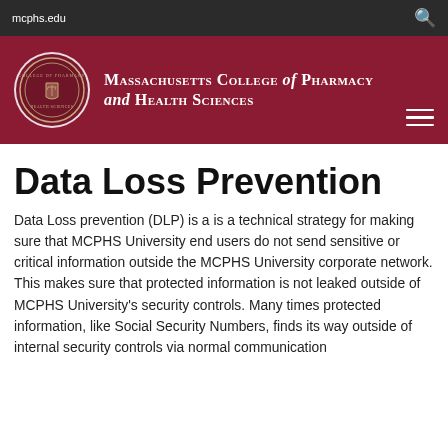mcphs.edu
[Figure (logo): Massachusetts College of Pharmacy and Health Sciences logo with circular seal on dark red banner background]
Data Loss Prevention
Data Loss prevention (DLP) is a is a technical strategy for making sure that MCPHS University end users do not send sensitive or critical information outside the MCPHS University corporate network. This makes sure that protected information is not leaked outside of MCPHS University's security controls. Many times protected information, like Social Security Numbers, finds its way outside of internal security controls via normal communication